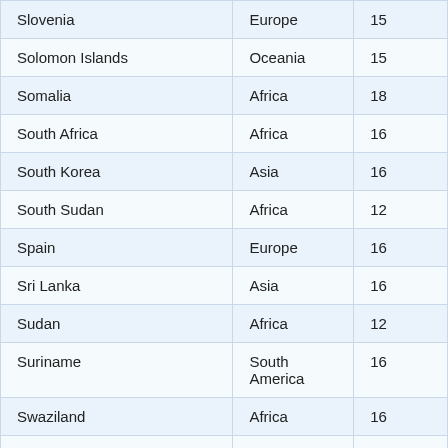| Slovenia | Europe | 15 |
| Solomon Islands | Oceania | 15 |
| Somalia | Africa | 18 |
| South Africa | Africa | 16 |
| South Korea | Asia | 16 |
| South Sudan | Africa | 12 |
| Spain | Europe | 16 |
| Sri Lanka | Asia | 16 |
| Sudan | Africa | 12 |
| Suriname | South America | 16 |
| Swaziland | Africa | 16 |
| Sweden | Europe | 15 |